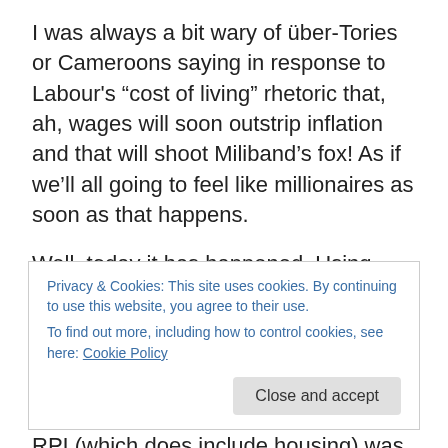I was always a bit wary of über-Tories or Cameroons saying in response to Labour's “cost of living” rhetoric that, ah, wages will soon outstrip inflation and that will shoot Miliband’s fox! As if we’ll all going to feel like millionaires as soon as that happens.
Well, today it has happened. Using CPI, which I find dodgy as it doesn’t taken into account housing costs (why on Earth not?), the Office for National Statistics calculated earlier this month inflation was 1.6% in the year to March. RPI (which does include housing) was at 2.5%.
Privacy & Cookies: This site uses cookies. By continuing to use this website, you agree to their use.
To find out more, including how to control cookies, see here: Cookie Policy